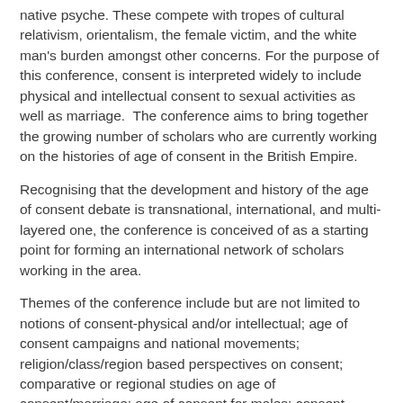native psyche. These compete with tropes of cultural relativism, orientalism, the female victim, and the white man's burden amongst other concerns. For the purpose of this conference, consent is interpreted widely to include physical and intellectual consent to sexual activities as well as marriage.  The conference aims to bring together the growing number of scholars who are currently working on the histories of age of consent in the British Empire.
Recognising that the development and history of the age of consent debate is transnational, international, and multi-layered one, the conference is conceived of as a starting point for forming an international network of scholars working in the area.
Themes of the conference include but are not limited to notions of consent-physical and/or intellectual; age of consent campaigns and national movements; religion/class/region based perspectives on consent; comparative or regional studies on age of consent/marriage; age of consent for males; consent, female body, and nationalism/imperialism.